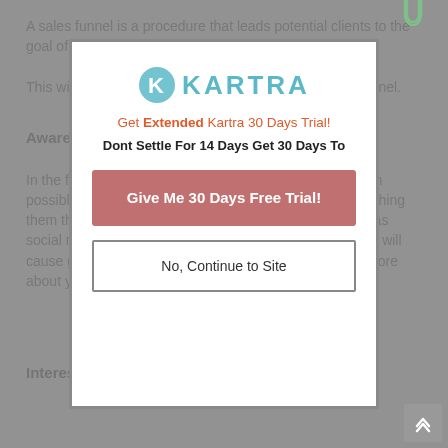A sales funnel is a procedure that leads potential clients to the goal of making a purchase.
This will be a study covering all the phases of a sales funnel.
Awareness
In the first stage, the marketer needs to get attention from possible consumers with their marketing strategy by reaching them through different channels of communication such as social media and e-mail campaigns. The hope is that this will cause getting them interested they will want to find out more about your services or product.
Interest
[Figure (screenshot): Modal popup overlay with Kartra logo, promotion text 'Get Extended Kartra 30 Days Trial!', subtitle 'Dont Settle For 14 Days Get 30 Days To', a red CTA button 'Give Me 30 Days Free Trial!' and a 'No, Continue to Site' button. A paperclip icon appears at top right of the modal.]